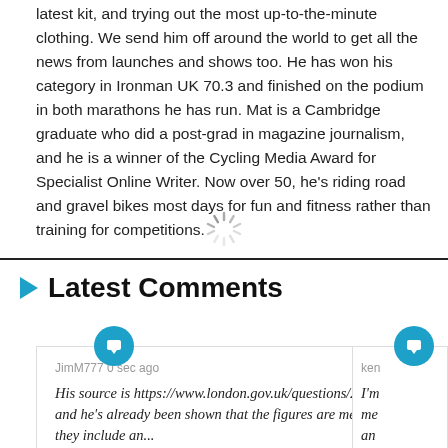latest kit, and trying out the most up-to-the-minute clothing. We send him off around the world to get all the news from launches and shows too. He has won his category in Ironman UK 70.3 and finished on the podium in both marathons he has run. Mat is a Cambridge graduate who did a post-grad in magazine journalism, and he is a winner of the Cycling Media Award for Specialist Online Writer. Now over 50, he's riding road and gravel bikes most days for fun and fitness rather than training for competitions.
[Figure (other): Loading spinner icon]
Latest Comments
JimM777 0 sec ago
His source is https://www.london.gov.uk/questions/2018/2362 and he's already been shown that the figures are meaningless as they include an...
ken
I'm me an th...